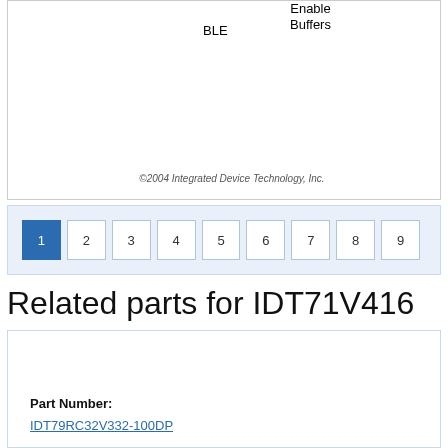[Figure (schematic): Partial schematic diagram showing BLE and Enable Buffers labels]
©2004 Integrated Device Technology, Inc.
1 2 3 4 5 6 7 8 9 (pagination)
Related parts for IDT71V416
[Figure (logo): IDT Integrated Device Technology logo]
Part Number:
IDT79RC32V332-100DP